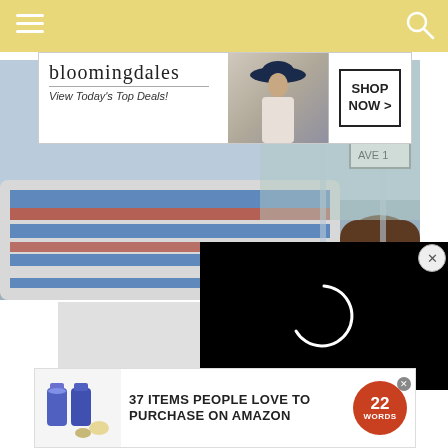[Figure (screenshot): Top navigation bar with hamburger menu on left and search icon on right, golden/yellow background]
[Figure (screenshot): Bloomingdales advertisement banner: 'bloomingdales View Today's Top Deals!' with model in hat and 'SHOP NOW >' button]
[Figure (photo): Person in striped long-sleeve shirt touching a glass door, blurred background]
[Figure (screenshot): Black video player overlay with circular loading spinner (white arc) and X close button]
[Figure (screenshot): Gray placeholder area below main photo]
[Figure (screenshot): Bottom advertisement: '37 ITEMS PEOPLE LOVE TO PURCHASE ON AMAZON' with product images and 22 Words logo]